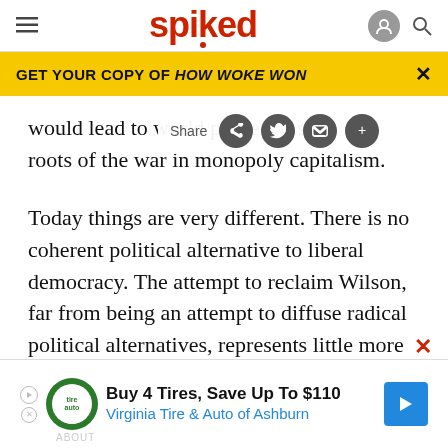spiked
GET YOUR COPY OF HOW WOKE WON
would lead to world peace, he s roots of the war in monopoly capitalism.
Today things are very different. There is no coherent political alternative to liberal democracy. The attempt to reclaim Wilson, far from being an attempt to diffuse radical political alternatives, represents little more than a romantic yearning for a time when America seemingly took a moral lead in the world.
[Figure (screenshot): Advertisement banner: Buy 4 Tires, Save Up To $110 - Virginia Tire & Auto of Ashburn]